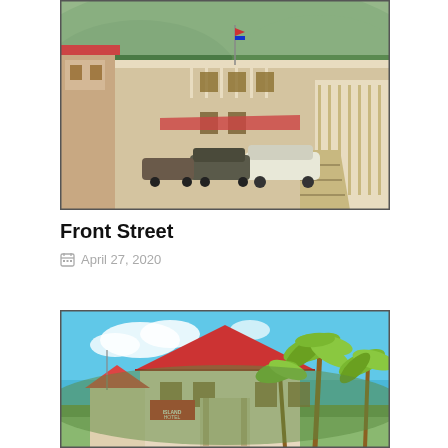[Figure (photo): Vintage color postcard photograph of Front Street, showing colonial-style two-story buildings with white railings and balcony, parked vintage cars from the 1950s-60s era on a street, with green hills in the background.]
Front Street
April 27, 2020
[Figure (photo): Vintage color postcard photograph showing a building with a red roof and a sign reading 'Island Hotel', surrounded by tall palm trees against a bright blue sky with scattered white clouds.]